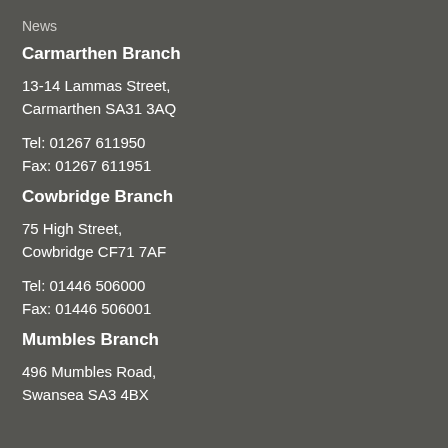News
Carmarthen Branch
13-14 Lammas Street,
Carmarthen SA31 3AQ
Tel: 01267 611950
Fax: 01267 611951
Cowbridge Branch
75 High Street,
Cowbridge CF71 7AF
Tel: 01446 506000
Fax: 01446 506001
Mumbles Branch
496 Mumbles Road,
Swansea SA3 4BX